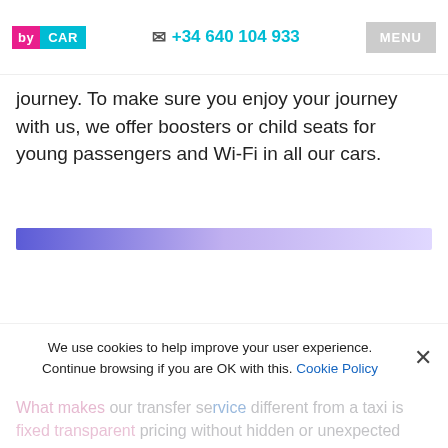by CAR  +34 640 104 933  MENU
journey. To make sure you enjoy your journey with us, we offer boosters or child seats for young passengers and Wi-Fi in all our cars.
[Figure (other): Horizontal gradient bar transitioning from blue-purple on left to light lavender on right]
We use cookies to help improve your user experience. Continue browsing if you are OK with this. Cookie Policy
What makes our transfer service different from a taxi is fixed transparent pricing without hidden or unexpected